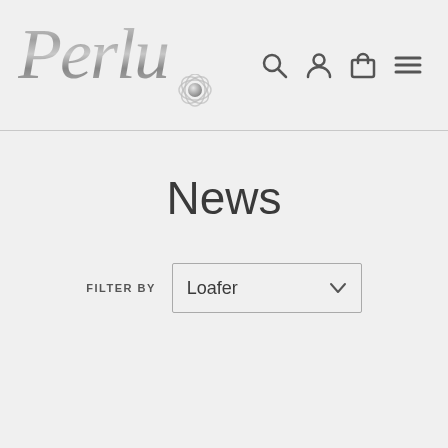[Figure (logo): Perlu brand logo in silver metallic italic script font with a pearl and flower decoration beneath the text]
News
FILTER BY  Loafer